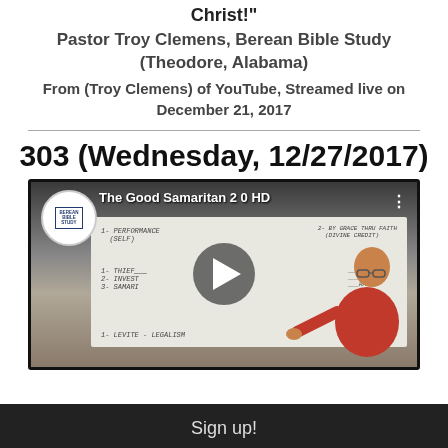Christ!"
Pastor Troy Clemens, Berean Bible Study (Theodore, Alabama)
From (Troy Clemens) of YouTube, Streamed live on December 21, 2017
303 (Wednesday, 12/27/2017)
[Figure (screenshot): YouTube video thumbnail showing Pastor Troy Clemens at a whiteboard teaching 'The Good Samaritan 2 0 HD' with a play button overlay and Berean Bible Study logo]
Sign up!